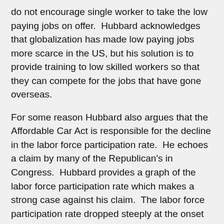do not encourage single worker to take the low paying jobs on offer.  Hubbard acknowledges that globalization has made low paying jobs more scarce in the US, but his solution is to provide training to low skilled workers so that they can compete for the jobs that have gone overseas.
For some reason Hubbard also argues that the Affordable Car Act is responsible for the decline in the labor force participation rate.  He echoes a claim by many of the Republican's in Congress.  Hubbard provides a graph of the labor force participation rate which makes a strong case against his claim.  The labor force participation rate dropped steeply at the onset of the recession and it continued to fall during the slow recovery.  The Affordable Car Act, which has only recently become available, cannot be responsible for the decline in the labor force participation rate.
In summary, the lack of jobs is not responsible for the decline in the labor force participation rate according to Hubbard.  He pus the blame on government policies which discourage the incentive to work and he argues that the labor force lacks the skills demanded by employers.  Dean Baker responded